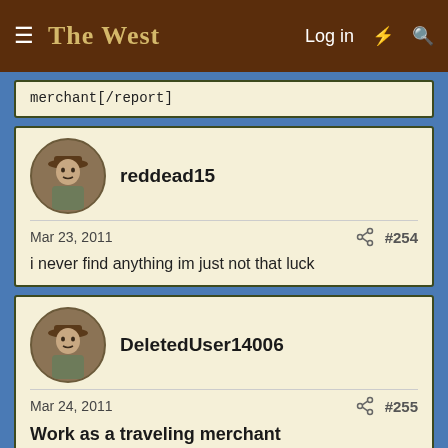The West — Log in
merchant[/report]
reddead15
Mar 23, 2011  #254
i never find anything im just not that luck
DeletedUser14006
Mar 24, 2011  #255
Work as a traveling merchant
91%
30 minutes  $ 315  42 experience points